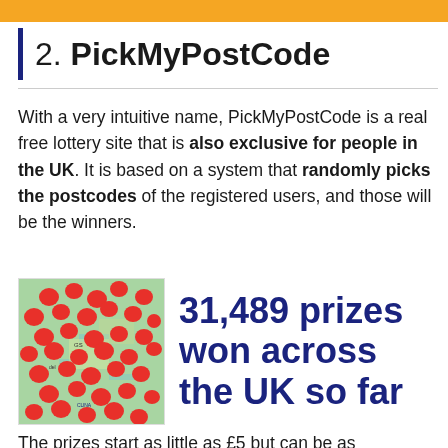2. PickMyPostCode
With a very intuitive name, PickMyPostCode is a real free lottery site that is also exclusive for people in the UK. It is based on a system that randomly picks the postcodes of the registered users, and those will be the winners.
[Figure (infographic): Map of UK with red heart/blob markers indicating prize winners across the country, alongside bold text reading '31,489 prizes won across the UK so far']
The prizes start as little as £5 but can be as